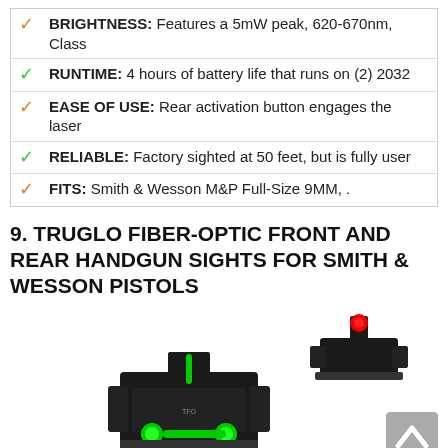BRIGHTNESS: Features a 5mW peak, 620-670nm, Class
RUNTIME: 4 hours of battery life that runs on (2) 2032
EASE OF USE: Rear activation button engages the laser
RELIABLE: Factory sighted at 50 feet, but is fully user
FITS: Smith & Wesson M&P Full-Size 9MM, .
9. TRUGLO FIBER-OPTIC FRONT AND REAR HANDGUN SIGHTS FOR SMITH & WESSON PISTOLS
[Figure (photo): Product photo of TRUGLO fiber-optic front and rear handgun sights for Smith & Wesson pistols. Shows two black metal sights — a smaller rear sight with a red fiber-optic dot on top, and a larger front sight with two green fiber-optic rods. A gray scroll-to-top button is visible in the bottom right.]
Check Todays Price